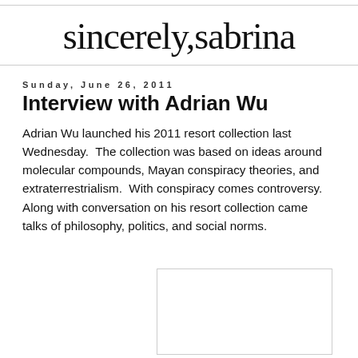sincerely,sabrina
Sunday, June 26, 2011
Interview with Adrian Wu
Adrian Wu launched his 2011 resort collection last Wednesday.  The collection was based on ideas around molecular compounds, Mayan conspiracy theories, and extraterrestrialism.  With conspiracy comes controversy.  Along with conversation on his resort collection came talks of philosophy, politics, and social norms.
[Figure (photo): Photo placeholder image, partially visible at bottom right of page]